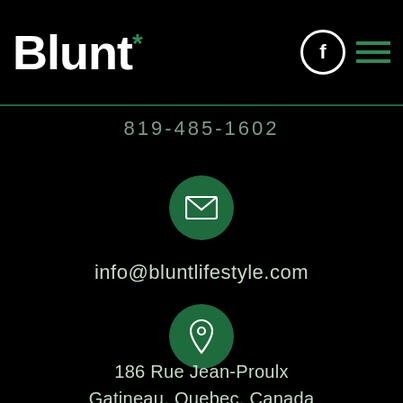Blunt*
819-485-1602
[Figure (illustration): Green circle with white envelope/mail icon]
info@bluntlifestyle.com
[Figure (illustration): Green circle with white map pin/location icon]
186 Rue Jean-Proulx Gatineau, Quebec, Canada J8Z 1V8